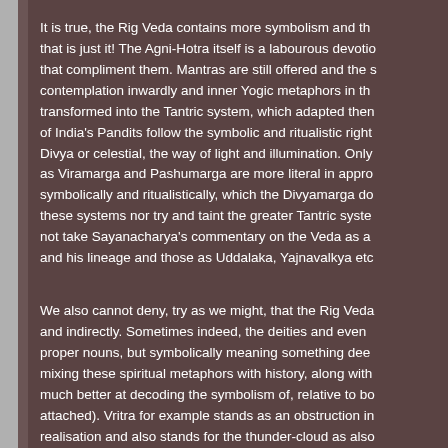It is true, the Rig Veda contains more symbolism and th... that is just it! The Agni-Hotra itself is a labourous devotio... that compliment them. Mantras are still offered and the s... contemplation inwardly and inner Yogic metaphors in th... transformed into the Tantric system, which adapted then... of India's Pandits follow the symbolic and ritualistic right... Divya or celestial, the way of light and illumination. Only... as Viramarga and Pashumarga are more literal in appro... symbolically and ritualistically, which the Divyamarga do... these systems nor try and taint the greater Tantric syste... not take Sayanacharya's commentary on the Veda as a... and his lineage and those as Uddalaka, Yajnavalkya etc...
We also cannot deny, try as we might, that the Rig Veda... and indirectly. Sometimes indeed, the deities and even... proper nouns, but symbolically meaning something dee... mixing these spiritual metaphors with history, along with... much better at decoding the symbolism of, relative to bo... attached). Vritra for example stands as an obstruction in... realisation and also stands for the thunder-cloud as also... upon which level one translates it as, inwardly (Yogic) o... (Samkhya and Nyaya-Vaisheshika), or even Vedanticall...